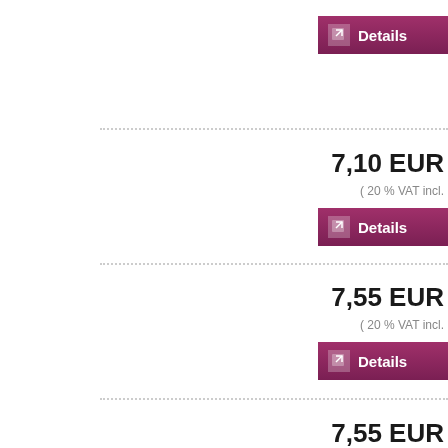Details
7,10 EUR
( 20 % VAT incl.
Details
7,55 EUR
( 20 % VAT incl.
Details
7,55 EUR
( 20 % VAT incl.
Details